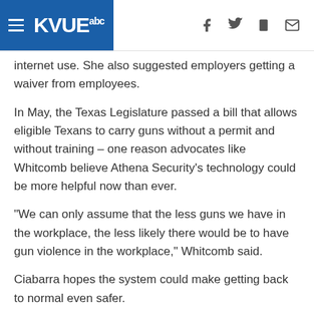KVUE abc
internet use. She also suggested employers getting a waiver from employees.
In May, the Texas Legislature passed a bill that allows eligible Texans to carry guns without a permit and without training – one reason advocates like Whitcomb believe Athena Security's technology could be more helpful now than ever.
"We can only assume that the less guns we have in the workplace, the less likely there would be to have gun violence in the workplace," Whitcomb said.
Ciabarra hopes the system could make getting back to normal even safer.
"If you're going to go back to school, if you're going to go back to work, you need to make sure that your staff and your customers and your students are safe," Ciabarra said.